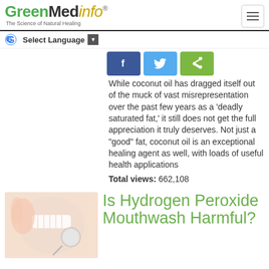GreenMedinfo - The Science of Natural Healing
[Figure (screenshot): Social share buttons: Facebook (blue), Twitter (light blue), Share (green)]
While coconut oil has dragged itself out of the muck of vast misrepresentation over the past few years as a 'deadly saturated fat,' it still does not get the full appreciation it truly deserves. Not just a "good" fat, coconut oil is an exceptional healing agent as well, with loads of useful health applications
Total views: 662,108
[Figure (photo): Dental/mouthwash image showing teeth and dental mirror]
Is Hydrogen Peroxide Mouthwash Harmful?